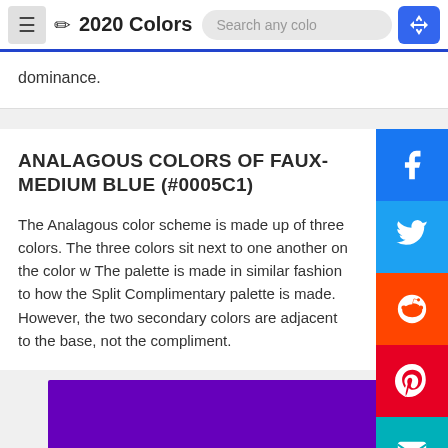2020 Colors
dominance.
ANALAGOUS COLORS OF FAUX-MEDIUM BLUE (#0005C1)
The Analagous color scheme is made up of three colors. The three colors sit next to one another on the color w... The palette is made in similar fashion to how the Split Complimentary palette is made. However, the two secondary colors are adjacent to the base, not the compliment.
[Figure (illustration): Purple color swatch preview at bottom of page]